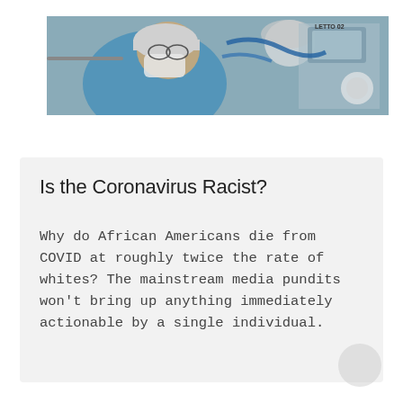[Figure (photo): A banner photo showing a medical worker in blue scrubs, surgical mask, and hair cap leaning over medical equipment in a hospital/ICU setting. Medical devices and blue tubing visible in background.]
Is the Coronavirus Racist?
Why do African Americans die from COVID at roughly twice the rate of whites? The mainstream media pundits won't bring up anything immediately actionable by a single individual.